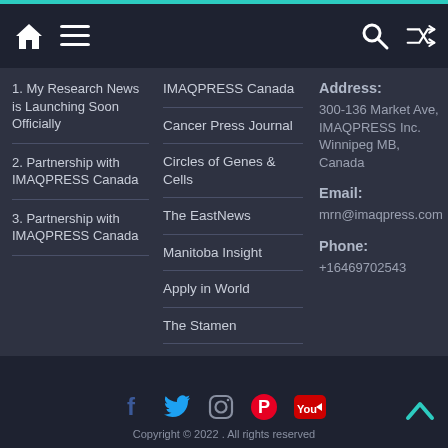Navigation bar with home icon, menu, search, and shuffle icons
1. My Research News is Launching Soon Officially
2. Partnership with IMAQPRESS Canada
3. Partnership with IMAQPRESS Canada
IMAQPRESS Canada
Cancer Press Journal
Circles of Genes & Cells
The EastNews
Manitoba Insight
Apply in World
The Stamen
Address:
300-136 Market Ave, IMAQPRESS Inc. Winnipeg MB, Canada
Email:
mrn@imaqpress.com
Phone:
+16469702543
Copyright © 2022 . All rights reserved